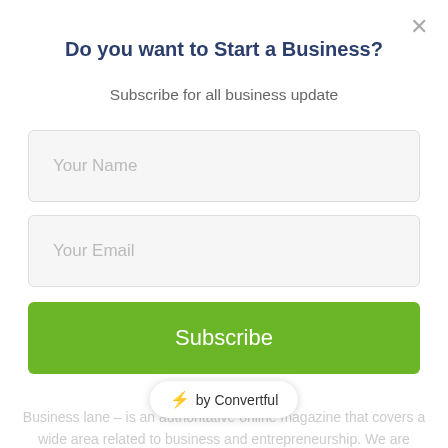Do you want to Start a Business?
Subscribe for all business update
Your Name
Your Email
Subscribe
⚡ by Convertful
Business lane – is an authoritative online magazine that covers a wide area related to business and entrepreneurship. We are regularly updated – sign up with our newsletter to send the updates directly to your inbox on weekly basis.
Contact us: hello@business-lane.com
FOLLOW US